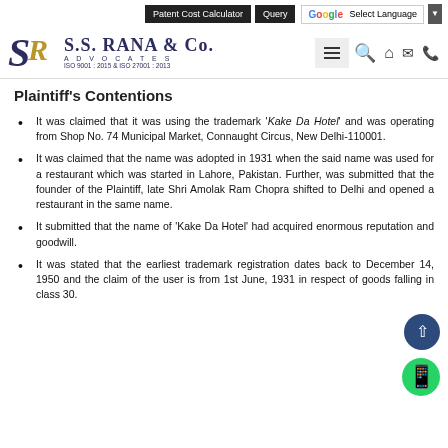S.S. RANA & CO. ADVOCATES | ISO 9001 : 2015 & ISO 27001 : 2013 | Patent Cost Calculator | Query | Select Language
Plaintiff's Contentions
It was claimed that it was using the trademark 'Kake Da Hotel' and was operating from Shop No. 74 Municipal Market, Connaught Circus, New Delhi-110001.
It was claimed that the name was adopted in 1931 when the said name was used for a restaurant which was started in Lahore, Pakistan. Further, was submitted that the founder of the Plaintiff, late Shri Amolak Ram Chopra shifted to Delhi and opened a restaurant in the same name.
It submitted that the name of 'Kake Da Hotel' had acquired enormous reputation and goodwill.
It was stated that the earliest trademark registration dates back to December 14, 1950 and the claim of the user is from 1st June, 1931 in respect of goods falling in class 30.